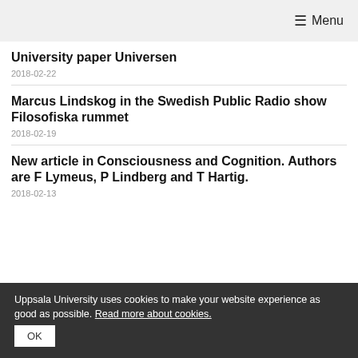≡ Menu
University paper Universen
2018-02-22
Marcus Lindskog in the Swedish Public Radio show Filosofiska rummet
2018-02-19
New article in Consciousness and Cognition. Authors are F Lymeus, P Lindberg and T Hartig.
2018-02-13
Uppsala University uses cookies to make your website experience as good as possible. Read more about cookies.